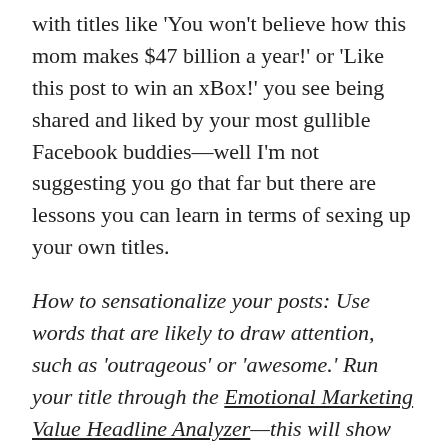with titles like 'You won't believe how this mom makes $47 billion a year!' or 'Like this post to win an xBox!' you see being shared and liked by your most gullible Facebook buddies—well I'm not suggesting you go that far but there are lessons you can learn in terms of sexing up your own titles.
How to sensationalize your posts: Use words that are likely to draw attention, such as 'outrageous' or 'awesome.' Run your title through the Emotional Marketing Value Headline Analyzer—this will show you how emotive your title is and hence how likely it is to attract attention from readers.